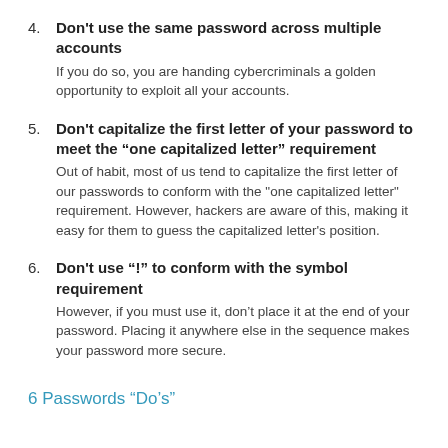4. Don't use the same password across multiple accounts
If you do so, you are handing cybercriminals a golden opportunity to exploit all your accounts.
5. Don't capitalize the first letter of your password to meet the “one capitalized letter” requirement
Out of habit, most of us tend to capitalize the first letter of our passwords to conform with the "one capitalized letter" requirement. However, hackers are aware of this, making it easy for them to guess the capitalized letter's position.
6. Don't use "!" to conform with the symbol requirement
However, if you must use it, don’t place it at the end of your password. Placing it anywhere else in the sequence makes your password more secure.
6 Passwords “Do’s”